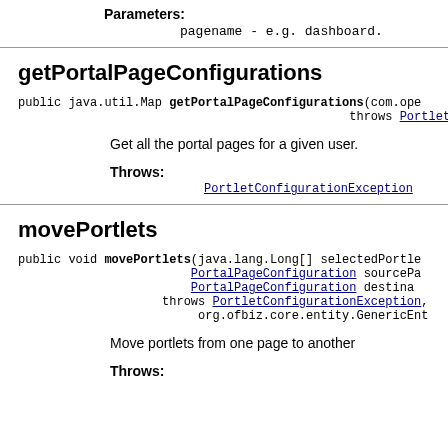Parameters: pagename - e.g. dashboard.
getPortalPageConfigurations
public java.util.Map getPortalPageConfigurations(com.ope... throws PortletC...
Get all the portal pages for a given user.
Throws:
PortletConfigurationException
movePortlets
public void movePortlets(java.lang.Long[] selectedPortlet... PortalPageConfiguration sourcePa... PortalPageConfiguration destina... throws PortletConfigurationException, org.ofbiz.core.entity.GenericEnt...
Move portlets from one page to another
Throws: